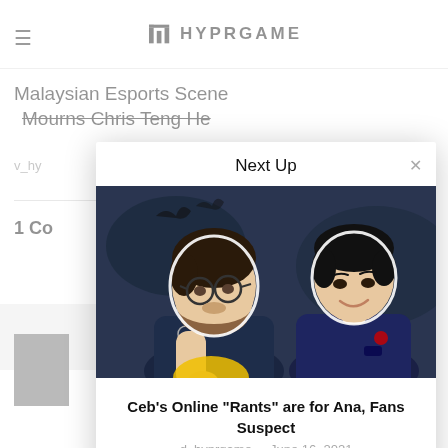HYPRGAME
Malaysian Esports Scene Mourns Chris Teng He
v_hy
1 Co
Next Up
[Figure (photo): Two esports players, one with glasses and beard resting chin on hand, one younger Asian player, both in team jerseys, against a dark fantasy background]
Ceb's Online "Rants" are for Ana, Fans Suspect
d_hyprgame · June 16, 2021